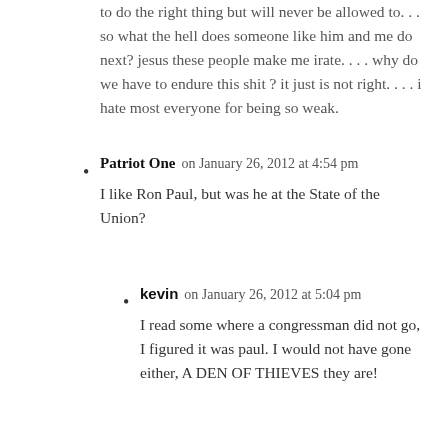to do the right thing but will never be allowed to. . . so what the hell does someone like him and me do next? jesus these people make me irate. . . . why do we have to endure this shit ? it just is not right. . . . i hate most everyone for being so weak.
Patriot One on January 26, 2012 at 4:54 pm
I like Ron Paul, but was he at the State of the Union?
kevin on January 26, 2012 at 5:04 pm
I read some where a congressman did not go, I figured it was paul. I would not have gone either, A DEN OF THIEVES they are!